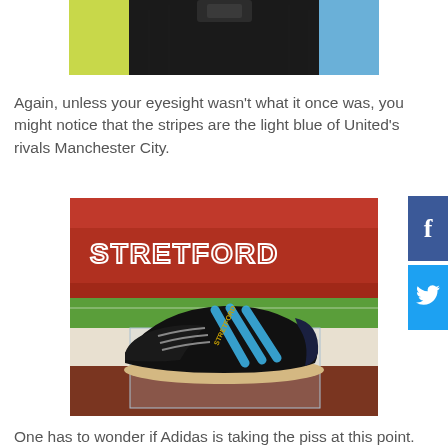[Figure (photo): Top portion of a photo showing a dark jacket/bag with green and blue background, cropped at top of page]
Again, unless your eyesight wasn't what it once was, you might notice that the stripes are the light blue of United's rivals Manchester City.
[Figure (photo): A black Adidas sneaker with light blue stripes displayed on a wooden surface in front of Old Trafford stadium stands with red seating]
One has to wonder if Adidas is taking the piss at this point.